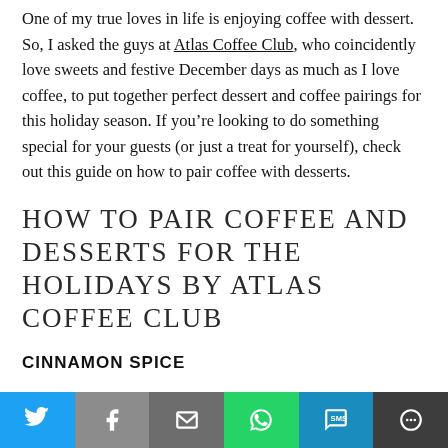One of my true loves in life is enjoying coffee with dessert. So, I asked the guys at Atlas Coffee Club, who coincidently love sweets and festive December days as much as I love coffee, to put together perfect dessert and coffee pairings for this holiday season. If you're looking to do something special for your guests (or just a treat for yourself), check out this guide on how to pair coffee with desserts.
HOW TO PAIR COFFEE AND DESSERTS FOR THE HOLIDAYS BY ATLAS COFFEE CLUB
CINNAMON SPICE
For desserts with cinnamon we recommend our Colombian & Guatemalan coffees for a chocolatey smooth finish to your cinnamon counterpart.
[Figure (other): Social media share bar with buttons for Twitter, Facebook, Email, WhatsApp, SMS, and More]